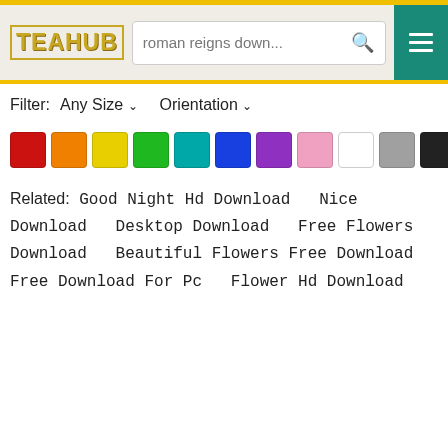[Figure (screenshot): Website header with TEAHUB logo, search box showing 'roman reigns down...', search icon, and teal hamburger menu button]
Filter:  Any Size ˅    Orientation ˅
[Figure (infographic): Color filter swatches: red, orange, yellow, green, teal, blue, purple, pink, white, gray, black, brown. Clear Filter button.]
Related: Good Night Hd Download  Nice Download  Desktop Download  Free Flowers Download  Beautiful Flowers Free Download  Free Download For Pc  Flower Hd Download